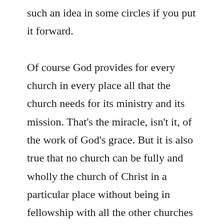such an idea in some circles if you put it forward.

Of course God provides for every church in every place all that the church needs for its ministry and its mission. That's the miracle, isn't it, of the work of God's grace. But it is also true that no church can be fully and wholly the church of Christ in a particular place without being in fellowship with all the other churches of Christ in all the different places. Of course, Jerusalem which is our mother above, is that transcendent reality of the Church in which by God's grace we all participate. Of course the local church gathered together in the presence of the Lord, these are primary realities of the church, but the relationship between churches – Judea and the Gentile churches, for instance, the churches of Macedonia, the